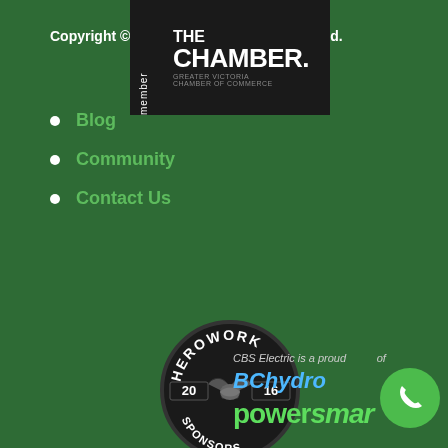Copyright © CBS Electrical Contractors Ltd.
Blog
Community
Contact Us
[Figure (logo): HEROWORK 2016 SPONSORS circular badge logo with handshake icon, dark background]
[Figure (logo): THE CHAMBER. Greater Victoria Chamber of Commerce member logo, dark background]
CBS Electric is a proud member of BC Hydro powersmart
[Figure (logo): Green phone icon bubble]